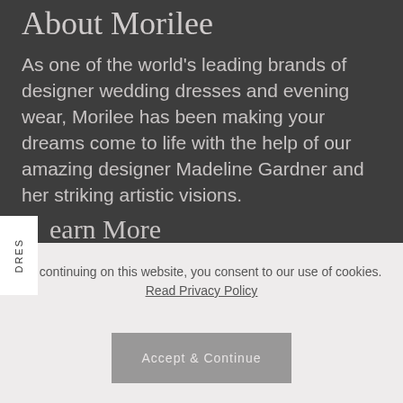About Morilee
As one of the world's leading brands of designer wedding dresses and evening wear, Morilee has been making your dreams come to life with the help of our amazing designer Madeline Gardner and her striking artistic visions.
DRES
earn More
By continuing on this website, you consent to our use of cookies. Read Privacy Policy
Accept & Continue